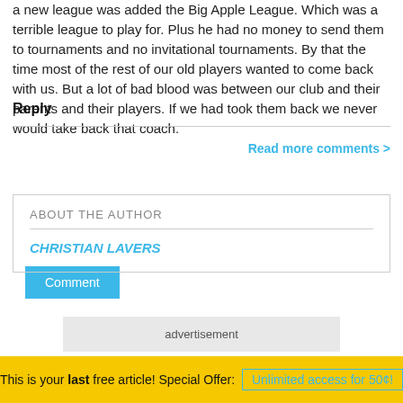a new league was added the Big Apple League. Which was a terrible league to play for. Plus he had no money to send them to tournaments and no invitational tournaments. By that the time most of the rest of our old players wanted to come back with us. But a lot of bad blood was between our club and their parents and their players. If we had took them back we never would take back that coach.
Reply
Comment
Read more comments >
ABOUT THE AUTHOR
CHRISTIAN LAVERS
advertisement
MORE FROM YOUR SOCCER WORLD
This is your last free article! Special Offer: Unlimited access for 50¢!